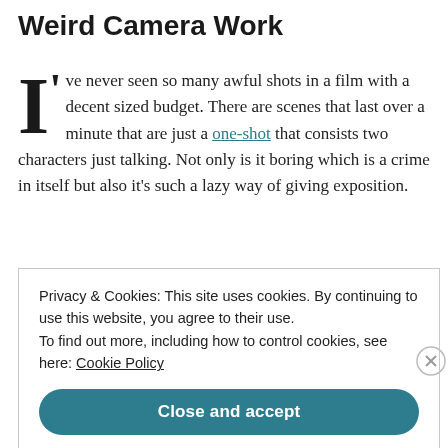Weird Camera Work
I've never seen so many awful shots in a film with a decent sized budget. There are scenes that last over a minute that are just a one-shot that consists two characters just talking. Not only is it boring which is a crime in itself but also it's such a lazy way of giving exposition.
Privacy & Cookies: This site uses cookies. By continuing to use this website, you agree to their use. To find out more, including how to control cookies, see here: Cookie Policy
Close and accept